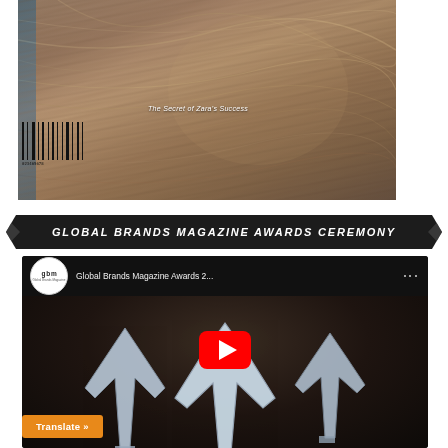[Figure (photo): Magazine cover showing a woman with hair blowing across her face, with a barcode on the left side and the text 'The Secret of Zara's Success' overlaid]
The Secret of Zara's Success
GLOBAL BRANDS MAGAZINE AWARDS CEREMONY
[Figure (screenshot): YouTube video thumbnail showing Global Brands Magazine Awards 2... with channel logo 'gbm', three-dot menu, award trophies visible, and a YouTube play button overlay. A Translate >> button is visible in bottom-left.]